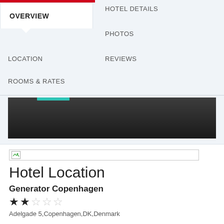OVERVIEW
HOTEL DETAILS
PHOTOS
LOCATION
REVIEWS
ROOMS & RATES
[Figure (photo): Dark hotel/bar interior photo with teal accent bar at top]
[Figure (photo): Broken/placeholder image thumbnail]
Hotel Location
Generator Copenhagen
★★☆☆☆
Adelgade 5,Copenhagen,DK,Denmark